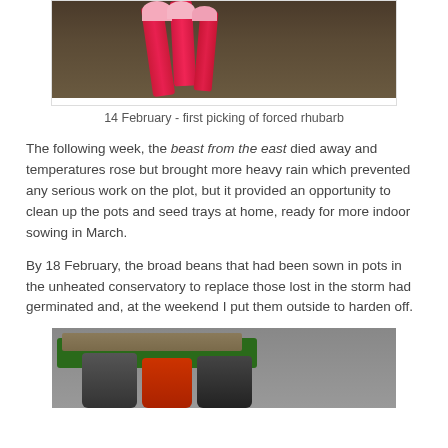[Figure (photo): Photo of forced rhubarb stalks being picked, showing pink/red stalks against a background of leaves and soil]
14 February - first picking of forced rhubarb
The following week, the beast from the east died away and temperatures rose but brought more heavy rain which prevented any serious work on the plot, but it provided an opportunity to clean up the pots and seed trays at home, ready for more indoor sowing in March.
By 18 February, the broad beans that had been sown in pots in the unheated conservatory to replace those lost in the storm had germinated and, at the weekend I put them outside to harden off.
[Figure (photo): Photo of seed trays and plant pots, including a green tray with soil and various dark pots with a red pot, showing broad bean seedlings]